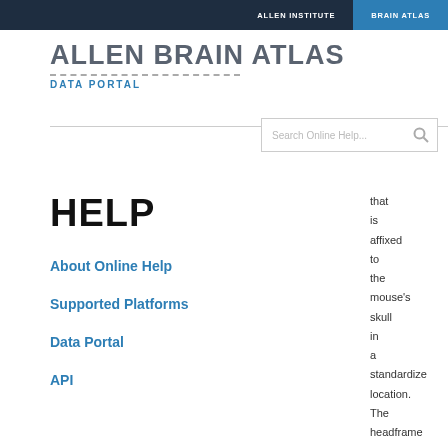ALLEN INSTITUTE   BRAIN ATLAS
ALLEN BRAIN ATLAS
DATA PORTAL
[Figure (other): Search Online Help... search box with magnifying glass icon]
HELP
About Online Help
Supported Platforms
Data Portal
API
that is affixed to the mouse's skull in a standardized location. The headframe